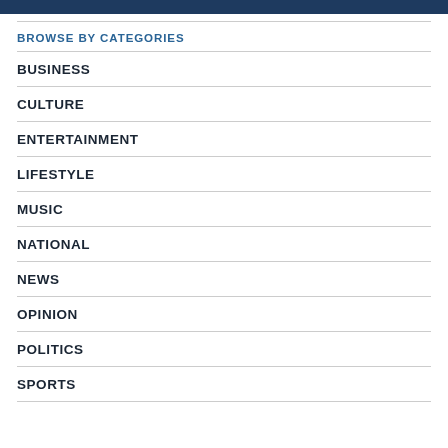BROWSE BY CATEGORIES
BUSINESS
CULTURE
ENTERTAINMENT
LIFESTYLE
MUSIC
NATIONAL
NEWS
OPINION
POLITICS
SPORTS